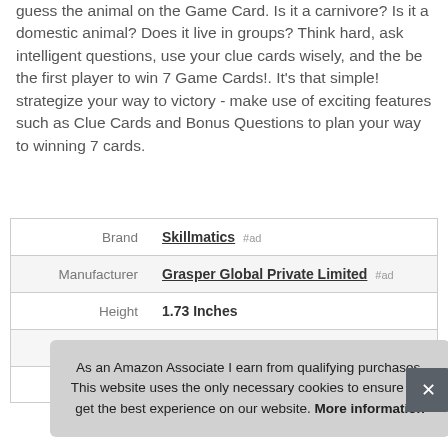guess the animal on the Game Card. Is it a carnivore? Is it a domestic animal? Does it live in groups? Think hard, ask intelligent questions, use your clue cards wisely, and the be the first player to win 7 Game Cards!. It's that simple! strategize your way to victory - make use of exciting features such as Clue Cards and Bonus Questions to plan your way to winning 7 cards.
|  |  |
| --- | --- |
| Brand | Skillmatics #ad |
| Manufacturer | Grasper Global Private Limited #ad |
| Height | 1.73 Inches |
| Length | 7.6 Inches |
| P |  |
As an Amazon Associate I earn from qualifying purchases. This website uses the only necessary cookies to ensure you get the best experience on our website. More information